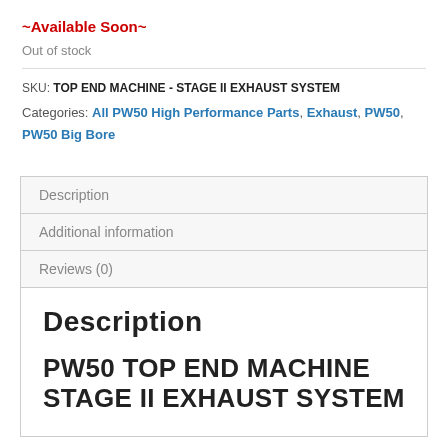~Available Soon~
Out of stock
SKU: TOP END MACHINE - STAGE II EXHAUST SYSTEM
Categories: All PW50 High Performance Parts, Exhaust, PW50, PW50 Big Bore
Description
Additional information
Reviews (0)
Description
PW50 TOP END MACHINE STAGE II EXHAUST SYSTEM